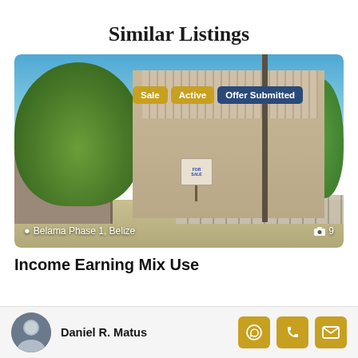Similar Listings
[Figure (photo): Photo of a two-story residential/commercial building in Belama Phase 1, Belize. Status badges show Sale, Active, Offer Submitted. Location text at bottom reads 'Belama Phase 1, Belize' with camera icon and count of 9.]
Income Earning Mix Use
Daniel R. Matus